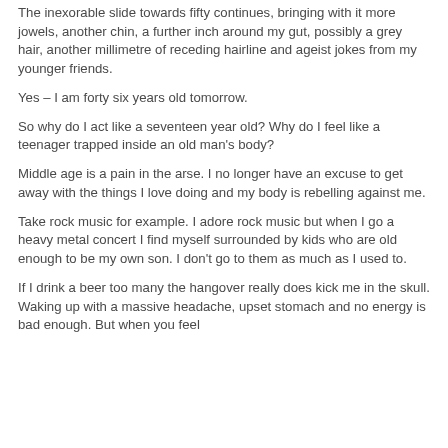The inexorable slide towards fifty continues, bringing with it more jowels, another chin, a further inch around my gut, possibly a grey hair, another millimetre of receding hairline and ageist jokes from my younger friends.
Yes – I am forty six years old tomorrow.
So why do I act like a seventeen year old? Why do I feel like a teenager trapped inside an old man's body?
Middle age is a pain in the arse. I no longer have an excuse to get away with the things I love doing and my body is rebelling against me.
Take rock music for example. I adore rock music but when I go a heavy metal concert I find myself surrounded by kids who are old enough to be my own son. I don't go to them as much as I used to.
If I drink a beer too many the hangover really does kick me in the skull. Waking up with a massive headache, upset stomach and no energy is bad enough. But when you feel the…